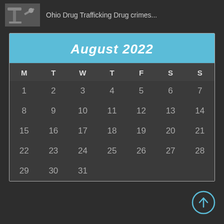[Figure (photo): Gavel/court image thumbnail in top left]
Ohio Drug Trafficking Drug crimes...
| M | T | W | T | F | S | S |
| --- | --- | --- | --- | --- | --- | --- |
| 1 | 2 | 3 | 4 | 5 | 6 | 7 |
| 8 | 9 | 10 | 11 | 12 | 13 | 14 |
| 15 | 16 | 17 | 18 | 19 | 20 | 21 |
| 22 | 23 | 24 | 25 | 26 | 27 | 28 |
| 29 | 30 | 31 |  |  |  |  |